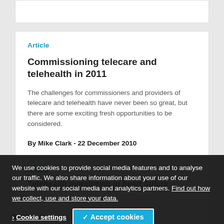Article
Commissioning telecare and telehealth in 2011
The challenges for commissioners and providers of telecare and telehealth have never been so great, but there are some exciting fresh opportunities to be considered.
By Mike Clark - 22 December 2010
Article
Telehealth monitoring in heart failure
By Mike Clark - 22 December
We use cookies to provide social media features and to analyse our traffic. We also share information about your use of our website with our social media and analytics partners. Find out how we collect, use and store your data.